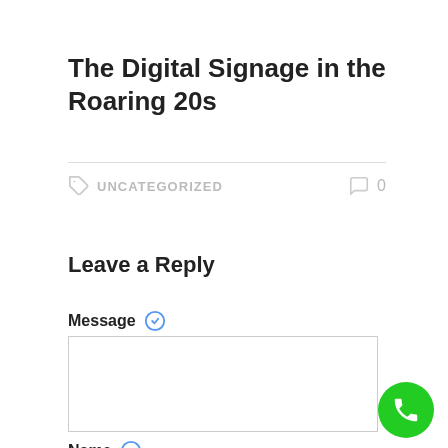The Digital Signage in the Roaring 20s
UNCATEGORIZED   0
Leave a Reply
Message
Name